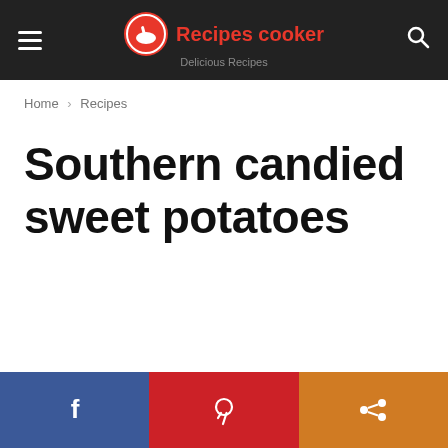Recipes cooker — Delicious Recipes
Home › Recipes
Southern candied sweet potatoes
[Figure (logo): Bottom share bar with Facebook, Pinterest, and Share buttons]